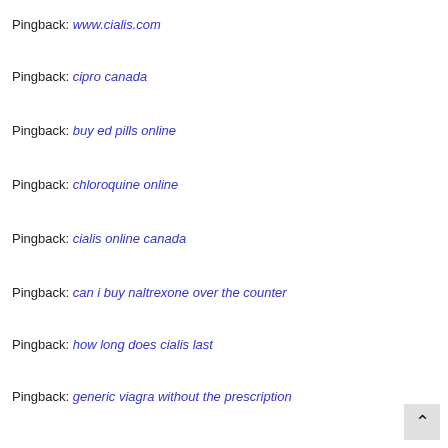Pingback: www.cialis.com
Pingback: cipro canada
Pingback: buy ed pills online
Pingback: chloroquine online
Pingback: cialis online canada
Pingback: can i buy naltrexone over the counter
Pingback: how long does cialis last
Pingback: generic viagra without the prescription